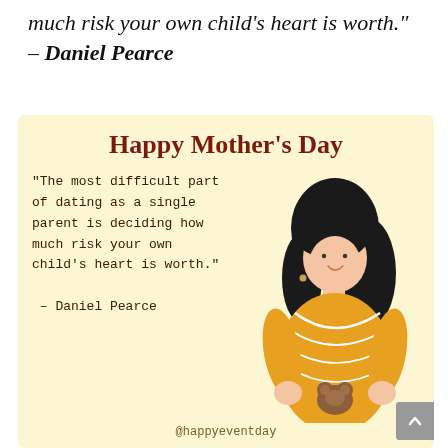much risk your own child's heart is worth." – Daniel Pearce
[Figure (illustration): Mother's Day card with light yellow background featuring the title 'Happy Mother's Day' in bold dark red, a quote in monospace font, and an illustration of a woman with dark curly hair wearing an orange dress holding a small brown bear.]